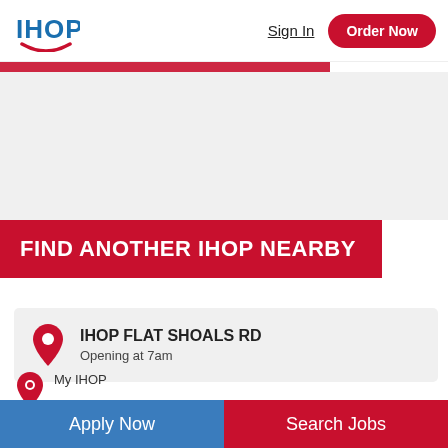[Figure (logo): IHOP logo with blue text and red smile arc]
Sign In
Order Now
FIND ANOTHER IHOP NEARBY
IHOP FLAT SHOALS RD
Opening at 7am
My IHOP
Apply Now
Search Jobs